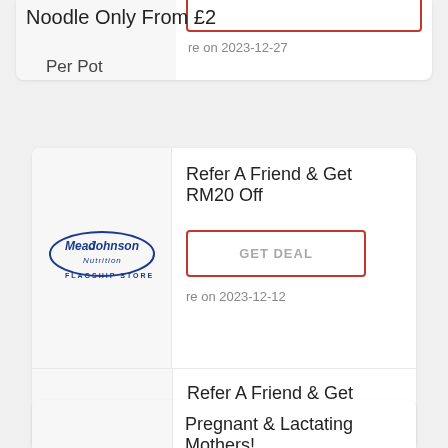Noodle Only From £2
re on 2023-12-27
Per Pot
[Figure (logo): Mead Johnson Nutrition Flagship Store logo]
Refer A Friend & Get RM20 Off
GET DEAL
re on 2023-12-12
Refer A Friend & Get
RM20 Off
Pregnant & Lactating Mothers!